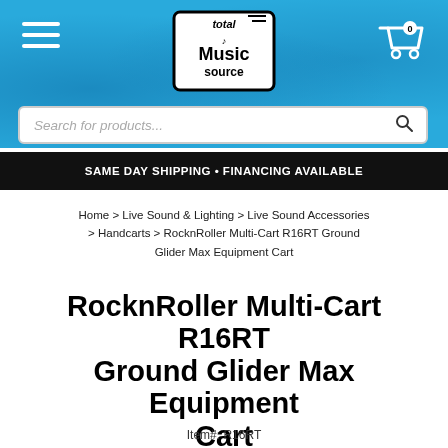[Figure (screenshot): Total Music Source website header with blue background, hamburger menu, logo, cart icon, and search bar]
SAME DAY SHIPPING • FINANCING AVAILABLE
Home > Live Sound & Lighting > Live Sound Accessories > Handcarts > RocknRoller Multi-Cart R16RT Ground Glider Max Equipment Cart
RocknRoller Multi-Cart R16RT Ground Glider Max Equipment Cart
Item#: R16RT